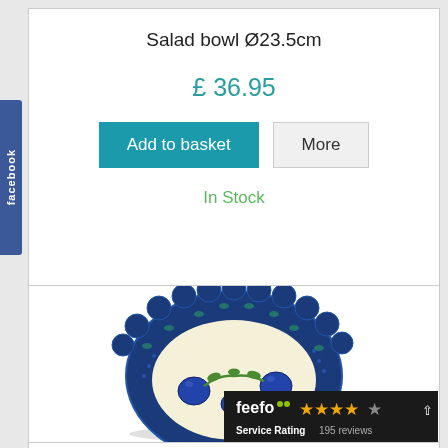Salad bowl Ø23.5cm
£ 36.95
Add to basket
More
In Stock
[Figure (photo): A decorative Polish pottery salad bowl with blue floral pattern and scalloped edges, viewed from above at an angle]
feefo Service Rating 195 reviews